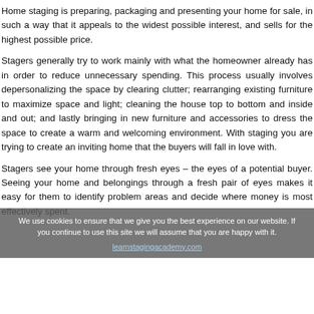Home staging is preparing, packaging and presenting your home for sale, in such a way that it appeals to the widest possible interest, and sells for the highest possible price.
Stagers generally try to work mainly with what the homeowner already has in order to reduce unnecessary spending. This process usually involves depersonalizing the space by clearing clutter; rearranging existing furniture to maximize space and light; cleaning the house top to bottom and inside and out; and lastly bringing in new furniture and accessories to dress the space to create a warm and welcoming environment. With staging you are trying to create an inviting home that the buyers will fall in love with.
Stagers see your home through fresh eyes – the eyes of a potential buyer. Seeing your home and belongings through a fresh pair of eyes makes it easy for them to identify problem areas and decide where money is most effectively spent.
We use cookies to ensure that we give you the best experience on our website. If you continue to use this site we will assume that you are happy with it.